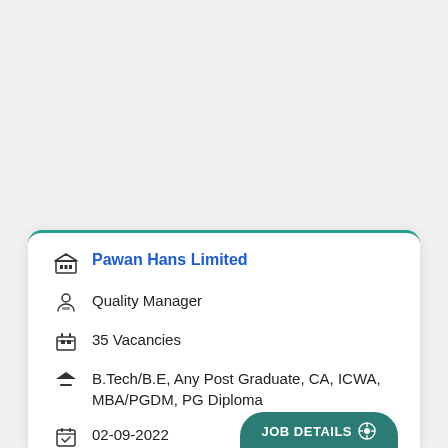Pawan Hans Limited
Quality Manager
35 Vacancies
B.Tech/B.E, Any Post Graduate, CA, ICWA, MBA/PGDM, PG Diploma
02-09-2022
JOB DETAILS